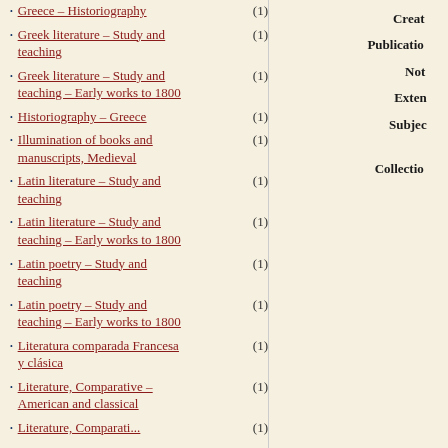Greece – Historiography (1)
Greek literature – Study and teaching (1)
Greek literature – Study and teaching – Early works to 1800 (1)
Historiography – Greece (1)
Illumination of books and manuscripts, Medieval (1)
Latin literature – Study and teaching (1)
Latin literature – Study and teaching – Early works to 1800 (1)
Latin poetry – Study and teaching (1)
Latin poetry – Study and teaching – Early works to 1800 (1)
Literatura comparada Francesa y clásica (1)
Literature, Comparative – American and classical (1)
Literature, Comparative – (1)
Creator
Publication
Note
Extent
Subject
Collection
7
Title
Creator
Publication
Note
Extent
Subject
Collection